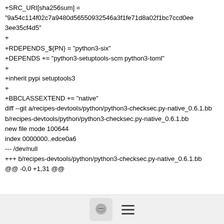+SRC_URI[sha256sum] =
"9a54c114f02c7a9480d56550932546a3f1fe71d8a02f1bc7ccd0ee3ee35cf4d5"
+
+RDEPENDS_${PN} = "python3-six"
+DEPENDS += "python3-setuptools-scm python3-toml"
+
+inherit pypi setuptools3
+
+BBCLASSEXTEND += "native"
diff --git a/recipes-devtools/python/python3-checksec.py-native_0.6.1.bb b/recipes-devtools/python/python3-checksec.py-native_0.6.1.bb
new file mode 100644
index 0000000..edce0a6
--- /dev/null
+++ b/recipes-devtools/python/python3-checksec.py-native_0.6.1.bb
@@ -0,0 +1,31 @@
[Figure (other): Bottom toolbar with chat bubble icon button and hamburger menu icon]